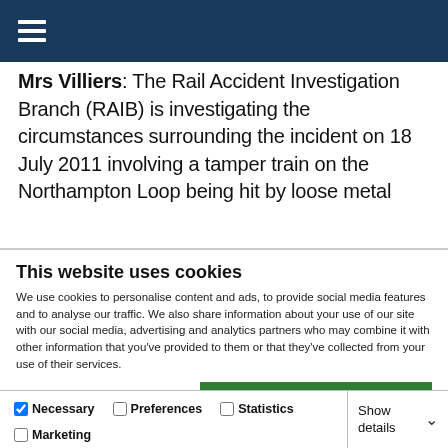Navigation menu header bar
Mrs Villiers: The Rail Accident Investigation Branch (RAIB) is investigating the circumstances surrounding the incident on 18 July 2011 involving a tamper train on the Northampton Loop being hit by loose metal
This website uses cookies
We use cookies to personalise content and ads, to provide social media features and to analyse our traffic. We also share information about your use of our site with our social media, advertising and analytics partners who may combine it with other information that you've provided to them or that they've collected from your use of their services.
Allow all cookies | Allow selection | Use necessary cookies only
Necessary | Preferences | Statistics | Marketing | Show details